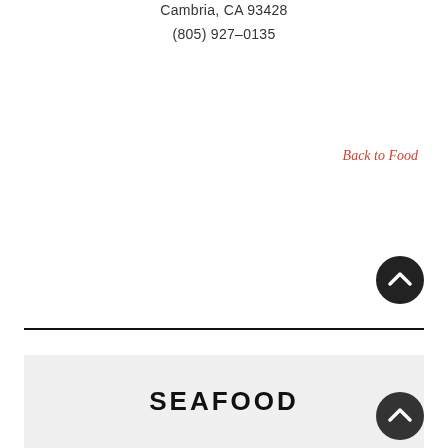Cambria, CA 93428
(805) 927-0135
Back to Food
[Figure (other): Scroll-to-top button (dark circle with upward chevron)]
SEAFOOD
[Figure (other): Scroll-to-top button (dark circle with upward chevron)]